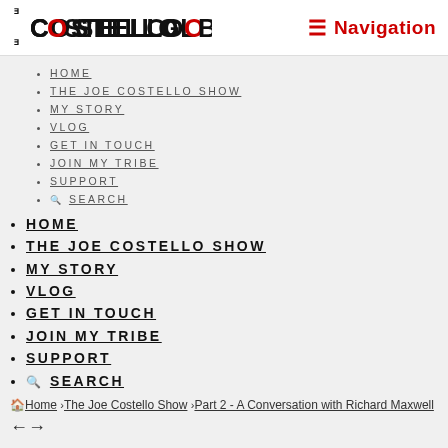Costello Global | Navigation
HOME
THE JOE COSTELLO SHOW
MY STORY
VLOG
GET IN TOUCH
JOIN MY TRIBE
SUPPORT
SEARCH
HOME
THE JOE COSTELLO SHOW
MY STORY
VLOG
GET IN TOUCH
JOIN MY TRIBE
SUPPORT
SEARCH
Home > The Joe Costello Show > Part 2 - A Conversation with Richard Maxwell
←→